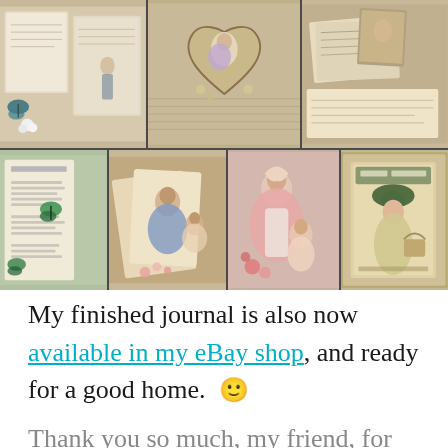[Figure (photo): Collage of vintage junk journal photos showing decorative papers, old postcards, antique illustrations of women and children, butterflies, floral elements, and handwritten text pages arranged in two rows.]
My finished journal is also now available in my eBay shop, and ready for a good home. 🙂
Thank you so much, my friend, for